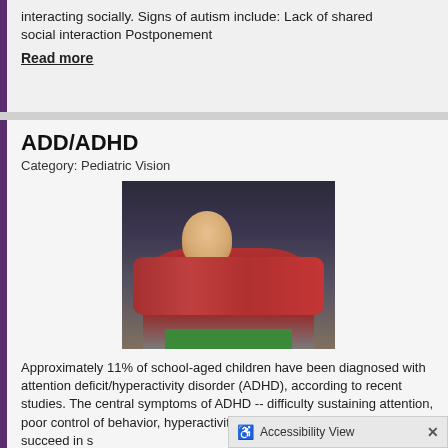interacting socially. Signs of autism include: Lack of shared social interaction Postponement
Read more
ADD/ADHD
Category: Pediatric Vision
[Figure (photo): Child in a red sweater resting head on arms on a desk, looking sad or bored, with a green book beneath, dark classroom background]
Approximately 11% of school-aged children have been diagnosed with attention deficit/hyperactivity disorder (ADHD), according to recent studies. The central symptoms of ADHD -- difficulty sustaining attention, poor control of behavior, hyperactivity -- make it difficult for children to succeed in school.
Read more